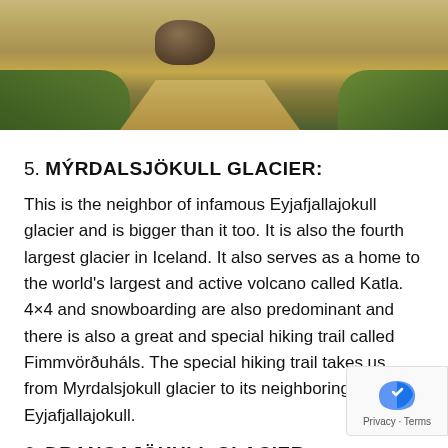[Figure (photo): Landscape photo showing a dirt path through volcanic terrain with a rock formation and green grass on the sides]
5. MÝRDALSJÖKULL GLACIER:
This is the neighbor of infamous Eyjafjallajokull glacier and is bigger than it too. It is also the fourth largest glacier in Iceland. It also serves as a home to the world's largest and active volcano called Katla. 4×4 and snowboarding are also predominant and there is also a great and special hiking trail called Fimmvörðuháls. The special hiking trail takes us from Myrdalsjokull glacier to its neighboring Eyjafjallajokull.
6. DRANGAJÖKULL GLACIER: